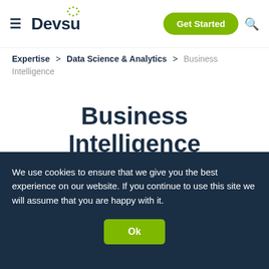≡ Devsu | Get Started 🔍
Expertise > Data Science & Analytics > Business Intelligence
Business Intelligence services
[Figure (illustration): Partial dashboard/analytics illustration showing pie chart and bar chart elements in teal/blue tones]
We use cookies to ensure that we give you the best experience on our website. If you continue to use this site we will assume that you are happy with it.
Ok